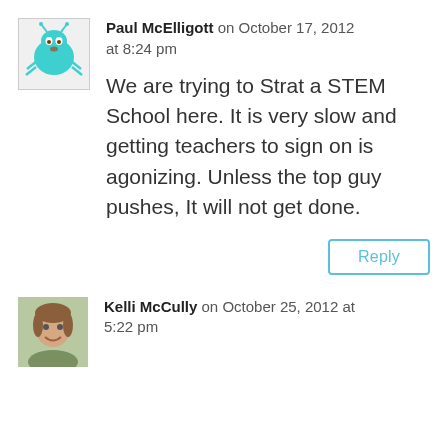[Figure (illustration): Avatar illustration of Paul McElligott — a cartoon teal/green bug-like creature with antennae on a light background]
Paul McElligott on October 17, 2012 at 8:24 pm
We are trying to Strat a STEM School here. It is very slow and getting teachers to sign on is agonizing. Unless the top guy pushes, It will not get done.
Reply
[Figure (photo): Photo avatar of Kelli McCully — a woman with brown hair smiling outdoors]
Kelli McCully on October 25, 2012 at 5:22 pm